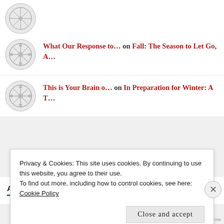What Our Response to… on Fall: The Season to Let Go, A…
This is Your Brain o… on In Preparation for Winter: A T…
ARCHIVES
Privacy & Cookies: This site uses cookies. By continuing to use this website, you agree to their use.
To find out more, including how to control cookies, see here: Cookie Policy
Close and accept